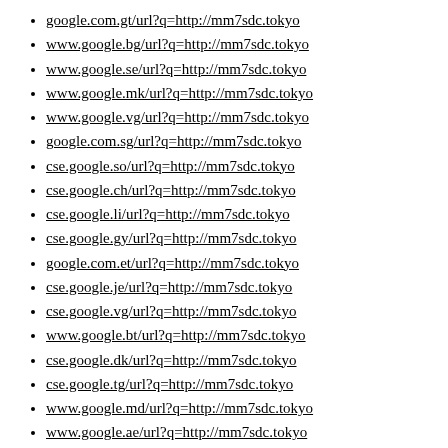google.com.gt/url?q=http://mm7sdc.tokyo
www.google.bg/url?q=http://mm7sdc.tokyo
www.google.se/url?q=http://mm7sdc.tokyo
www.google.mk/url?q=http://mm7sdc.tokyo
www.google.vg/url?q=http://mm7sdc.tokyo
google.com.sg/url?q=http://mm7sdc.tokyo
cse.google.so/url?q=http://mm7sdc.tokyo
cse.google.ch/url?q=http://mm7sdc.tokyo
cse.google.li/url?q=http://mm7sdc.tokyo
cse.google.gy/url?q=http://mm7sdc.tokyo
google.com.et/url?q=http://mm7sdc.tokyo
cse.google.je/url?q=http://mm7sdc.tokyo
cse.google.vg/url?q=http://mm7sdc.tokyo
www.google.bt/url?q=http://mm7sdc.tokyo
cse.google.dk/url?q=http://mm7sdc.tokyo
cse.google.tg/url?q=http://mm7sdc.tokyo
www.google.md/url?q=http://mm7sdc.tokyo
www.google.ae/url?q=http://mm7sdc.tokyo
google.com.bo/url?q=http://mm7sdc.tokyo